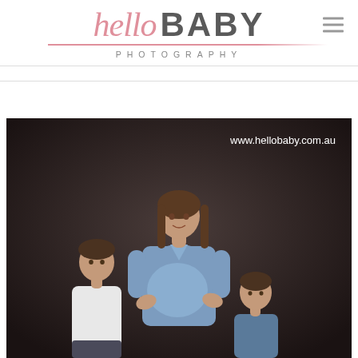[Figure (logo): Hello Baby Photography logo with 'hello' in pink italic script and 'BABY' in bold dark grey, with 'PHOTOGRAPHY' in spaced capitals below, and a hamburger menu icon to the right]
[Figure (photo): Studio maternity photograph of a pregnant woman in a blue wrap dress standing with two young boys on a dark grey background, with watermark text 'www.hellobaby.com.au' in the upper right corner]